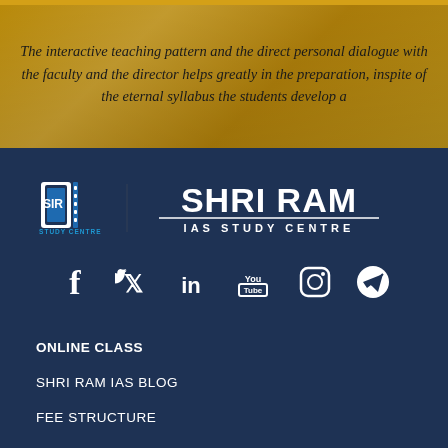The interactive teaching pattern and the direct personal dialogue with the faculty and the director helps greatly in the preparation, inspite of the eternal syllabus the students develop a
[Figure (logo): Shri Ram IAS Study Centre logo: book icon with SIR letters and text 'SHRI RAM IAS STUDY CENTRE']
[Figure (infographic): Social media icons: Facebook, Twitter, LinkedIn, YouTube, Instagram, Telegram]
ONLINE CLASS
SHRI RAM IAS BLOG
FEE STRUCTURE